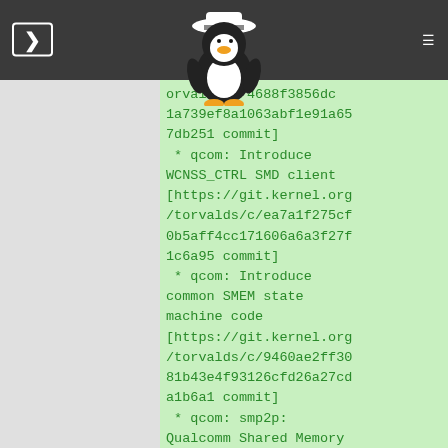Linux kernel git commit log page with navigation controls and Tux logo
orvalds/c/4688f3856dc1a739ef8a1063abf1e91a657db251 commit]
 * qcom: Introduce WCNSS_CTRL SMD client [https://git.kernel.org/torvalds/c/ea7a1f275cf0b5aff4cc171606a6a3f27f1c6a95 commit]
 * qcom: Introduce common SMEM state machine code [https://git.kernel.org/torvalds/c/9460ae2ff3081b43e4f93126cfd26a27cda1b6a1 commit]
 * qcom: smp2p: Qualcomm Shared Memory Point to Point [https://git.kernel.org/torvalds/c/50e99641413e766706043c2cb04ae2cd719539f4 commit]
 * qcom: smsm: Add